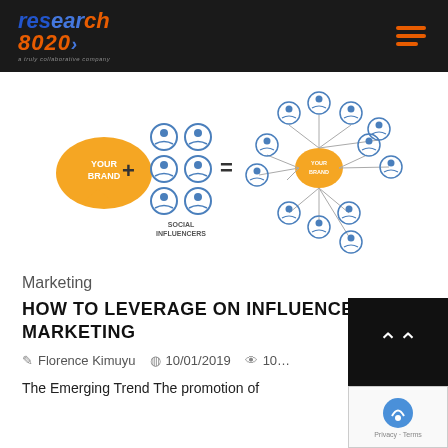research8020 [logo with hamburger menu]
[Figure (infographic): Influencer marketing diagram: 'YOUR BRAND' speech bubble (orange) + 'SOCIAL INFLUENCERS' (person icons in circle nodes) = network of connected person icon nodes with a central orange speech bubble labeled 'YOUR BRAND' surrounded by many connected user icons]
Marketing
HOW TO LEVERAGE ON INFLUENCER MARKETING
Florence Kimuyu  10/01/2019  10...
The Emerging Trend The promotion of